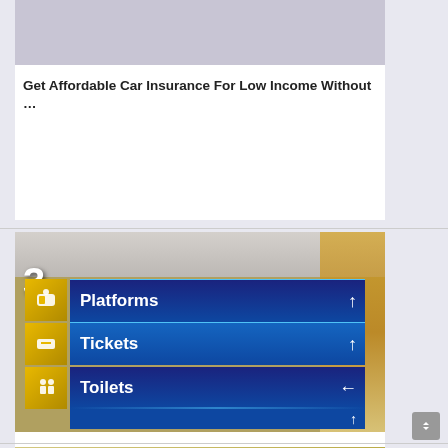[Figure (photo): Light purple/grey placeholder image at top of first card]
Get Affordable Car Insurance For Low Income Without …
[Figure (photo): Photograph of a train station wayfinding sign showing Platforms (up arrow), Tickets (up arrow), Toilets (left arrow) with a large number 3 on the left side, gold icon panels]
What Everyone Must Know About Signage Contractor In …
[Figure (photo): Partial bottom card image, partially visible]